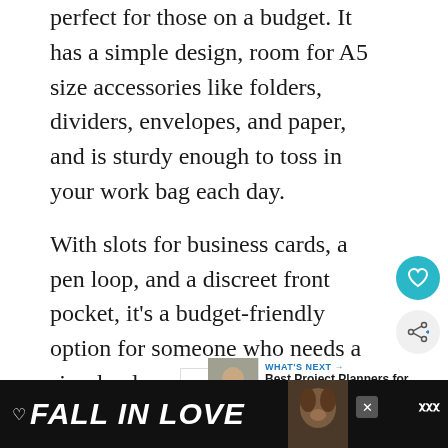perfect for those on a budget. It has a simple design, room for A5 size accessories like folders, dividers, envelopes, and paper, and is sturdy enough to toss in your work bag each day.
With slots for business cards, a pen loop, and a discreet front pocket, it’s a budget-friendly option for someone who needs a simple planner tool to stay organized.
[Figure (illustration): Decorative heart-shaped bug illustration with blue and yellow colors (Ukrainian flag colors), with radiating lines suggesting a sun or flower design]
[Figure (screenshot): What's Next panel with thumbnail image of a person and text: Best Project Planners for...]
[Figure (infographic): Black advertisement bar at bottom reading FALL IN LOVE with a heart icon and a dog image, with a close button and Tidal logo]